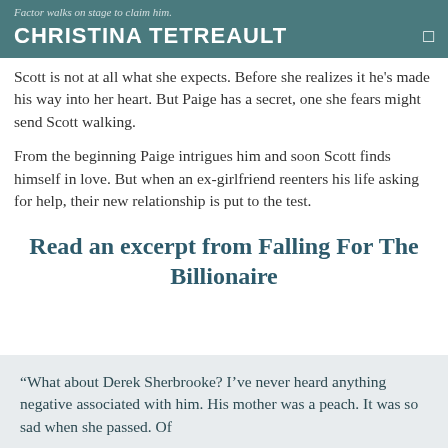CHRISTINA TETREAULT
Scott is not at all what she expects. Before she realizes it he's made his way into her heart. But Paige has a secret, one she fears might send Scott walking.
From the beginning Paige intrigues him and soon Scott finds himself in love. But when an ex-girlfriend reenters his life asking for help, their new relationship is put to the test.
Read an excerpt from Falling For The Billionaire
“What about Derek Sherbrooke? I’ve never heard anything negative associated with him. His mother was a peach. It was so sad when she passed. Of